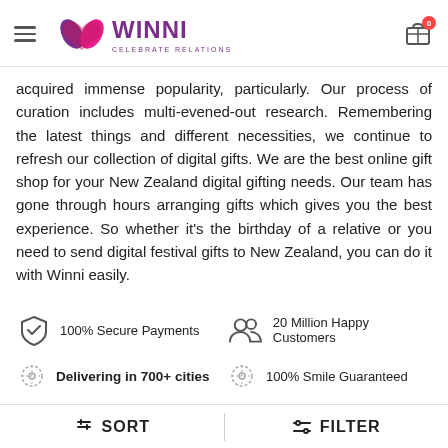WINNI — CELEBRATE RELATIONS
acquired immense popularity, particularly. Our process of curation includes multi-evened-out research. Remembering the latest things and different necessities, we continue to refresh our collection of digital gifts. We are the best online gift shop for your New Zealand digital gifting needs. Our team has gone through hours arranging gifts which gives you the best experience. So whether it's the birthday of a relative or you need to send digital festival gifts to New Zealand, you can do it with Winni easily.
100% Secure Payments
20 Million Happy Customers
Delivering in 700+ cities
100% Smile Guaranteed
© 2013 - 2022 Winni.in. All Rights Reserved
SORT   FILTER